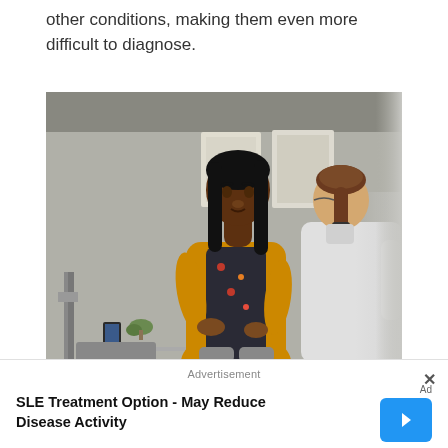other conditions, making them even more difficult to diagnose.
[Figure (photo): A Black woman in a yellow cardigan sits talking with a doctor in a white coat, viewed from behind, in a medical office setting with anatomical posters on the wall in the background.]
Advertisement
SLE Treatment Option - May Reduce Disease Activity